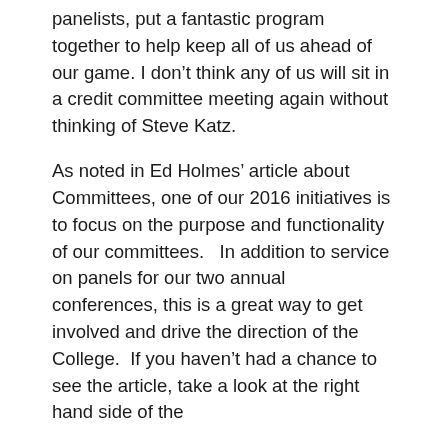panelists, put a fantastic program together to help keep all of us ahead of our game.  I don't think any of us will sit in a credit committee meeting again without thinking of Steve Katz.
As noted in Ed Holmes' article about Committees, one of our 2016 initiatives is to focus on the purpose and functionality of our committees.   In addition to service on panels for our two annual conferences, this is a great way to get involved and drive the direction of the College.  If you haven't had a chance to see the article, take a look at the right hand side of the